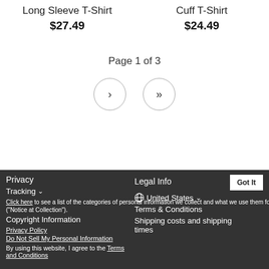Long Sleeve T-Shirt
$27.49
Cuff T-Shirt
$24.49
Page 1 of 3
[Figure (other): Navigation buttons: single right arrow and double right arrow in circles]
Privacy  Legal Info  We use cookies  Got It  Tracking  United States  Click here to see a list of the categories of personal information we collect and what we use them for ("Notice at Collection").  Copyright Information  Terms & Conditions  Privacy Policy  Do Not Sell My Personal Information  Shipping costs and shipping times  By using this website, I agree to the Terms and Conditions